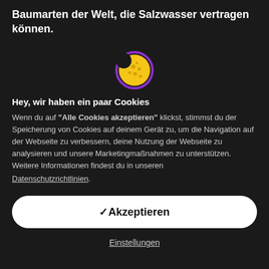Baumarten der Welt, die Salzwasser vertragen können.
[Figure (illustration): Cookie icon: yellow crescent moon/cookie shape with purple circular border on dark background]
Hey, wir haben ein paar Cookies
Wenn du auf "Alle Cookies akzeptieren" klickst, stimmst du der Speicherung von Cookies auf deinem Gerät zu, um die Navigation auf der Webseite zu verbessern, deine Nutzung der Webseite zu analysieren und unsere Marketingmaßnahmen zu unterstützen. Weitere Informationen findest du in unseren Datenschutzrichtlinien.
✓Akzeptieren
Einstellungen